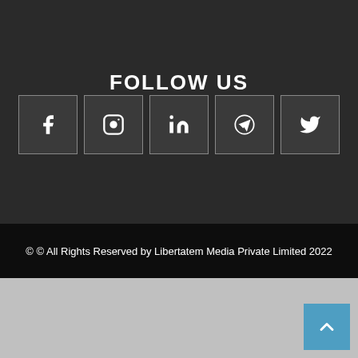FOLLOW US
[Figure (illustration): Row of five social media icon buttons: Facebook, Instagram, LinkedIn, Telegram, Twitter]
© © All Rights Reserved by Libertatem Media Private Limited 2022